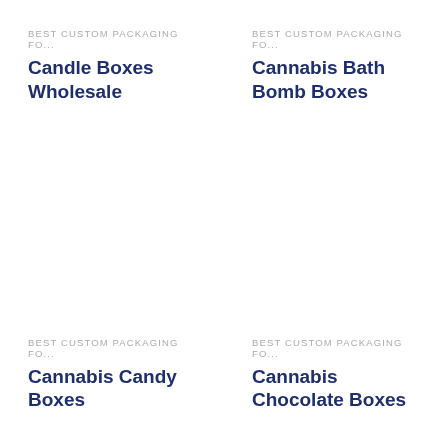BEST CUSTOM PACKAGING FO...
Candle Boxes Wholesale
BEST CUSTOM PACKAGING FO...
Cannabis Bath Bomb Boxes
BEST CUSTOM PACKAGING FO...
Cannabis Candy Boxes
BEST CUSTOM PACKAGING FO...
Cannabis Chocolate Boxes